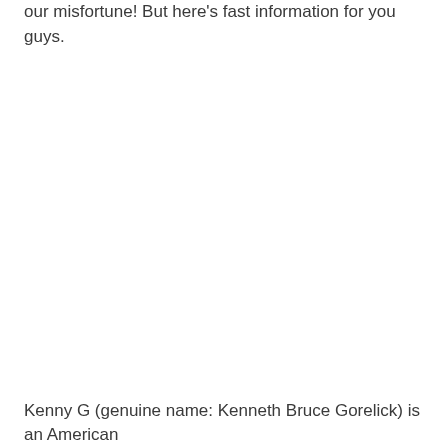our misfortune! But here's fast information for you guys.
Kenny G (genuine name: Kenneth Bruce Gorelick) is an American